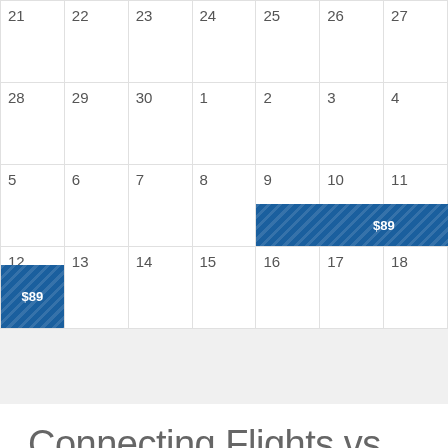[Figure (other): A flight price calendar grid showing dates 21-27, 28-4, 5-11, 12-18. Blue price bars show $89 spanning days 9-12 (across two rows). Days are shown in gray text on a white grid with light borders.]
Connecting Flights vs Direct Flights from Zurich to Malaga